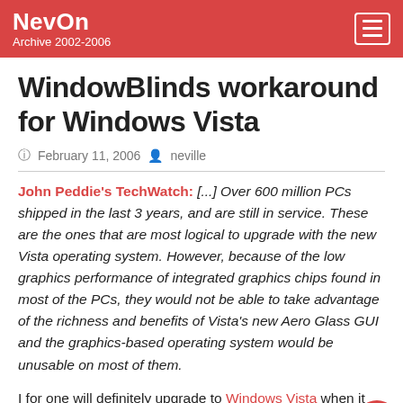NevOn Archive 2002-2006
WindowBlinds workaround for Windows Vista
February 11, 2006  neville
John Peddie's TechWatch: [...] Over 600 million PCs shipped in the last 3 years, and are still in service. These are the ones that are most logical to upgrade with the new Vista operating system. However, because of the low graphics performance of integrated graphics chips found in most of the PCs, they would not be able to take advantage of the richness and benefits of Vista's new Aero Glass GUI and the graphics-based operating system would be unusable on most of them.
I for one will definitely upgrade to Windows Vista when it appears later this year (I'm in the current beta programme).